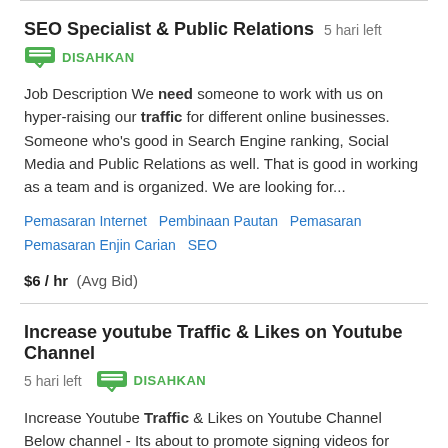SEO Specialist & Public Relations   5 hari left
DISAHKAN
Job Description We need someone to work with us on hyper-raising our traffic for different online businesses. Someone who's good in Search Engine ranking, Social Media and Public Relations as well. That is good in working as a team and is organized. We are looking for...
Pemasaran Internet   Pembinaan Pautan   Pemasaran   Pemasaran Enjin Carian   SEO
$6 / hr   (Avg Bid)
Increase youtube Traffic & Likes on Youtube Channel   5 hari left   DISAHKAN
Increase Youtube Traffic & Likes on Youtube Channel Below channel - Its about to promote signing videos for